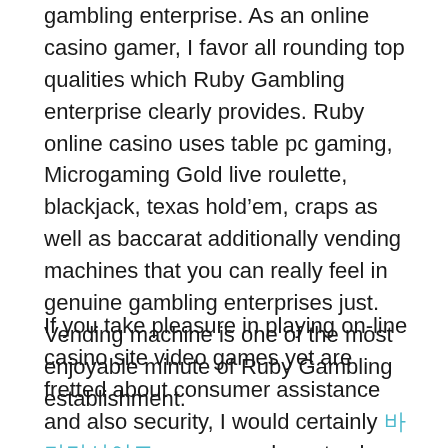gambling enterprise. As an online casino gamer, I favor all rounding top qualities which Ruby Gambling enterprise clearly provides. Ruby online casino uses table pc gaming, Microgaming Gold live roulette, blackjack, texas hold’em, craps as well as baccarat additionally vending machines that you can really feel in genuine gambling enterprises just. Vending machine is one of the most enjoyable minute of Ruby Gambling establishment.
If you take pleasure in playing on-line casino site video games yet are fretted about consumer assistance and also security, I would certainly 바카라사이트 recommend you to choose in for Ruby Lot Of Money Casino Site, an extremely dependable and also relied on on-line gambling enterprise. I am